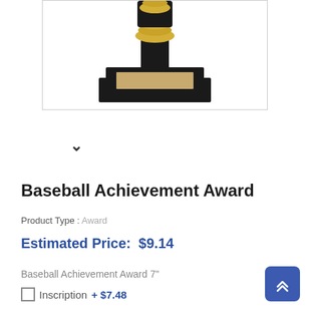[Figure (photo): A baseball trophy/award with a gold and black base, showing the bottom portion of the trophy with a gold plaque area on a black stepped pedestal.]
✓ (chevron/down arrow)
Baseball Achievement Award
Product Type : Award
Estimated Price:  $9.14
Baseball Achievement Award 7"
☐ Inscription + $7.48